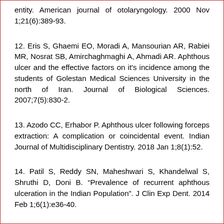entity. American journal of otolaryngology. 2000 Nov 1;21(6):389-93.
12. Eris S, Ghaemi EO, Moradi A, Mansourian AR, Rabiei MR, Nosrat SB, Amirchaghmaghi A, Ahmadi AR. Aphthous ulcer and the effective factors on it's incidence among the students of Golestan Medical Sciences University in the north of Iran. Journal of Biological Sciences. 2007;7(5):830-2.
13. Azodo CC, Erhabor P. Aphthous ulcer following forceps extraction: A complication or coincidental event. Indian Journal of Multidisciplinary Dentistry. 2018 Jan 1;8(1):52.
14. Patil S, Reddy SN, Maheshwari S, Khandelwal S, Shruthi D, Doni B. "Prevalence of recurrent aphthous ulceration in the Indian Population". J Clin Exp Dent. 2014 Feb 1;6(1):e36-40.